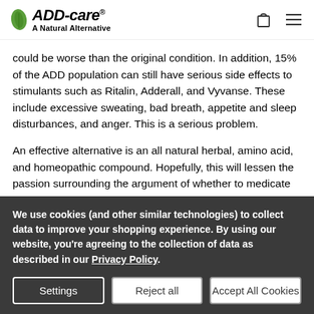[Figure (logo): ADD-care A Natural Alternative logo with green leaf icon]
could be worse than the original condition. In addition, 15% of the ADD population can still have serious side effects to stimulants such as Ritalin, Adderall, and Vyvanse. These include excessive sweating, bad breath, appetite and sleep disturbances, and anger. This is a serious problem.
An effective alternative is an all natural herbal, amino acid, and homeopathic compound. Hopefully, this will lessen the passion surrounding the argument of whether to medicate or not as it
We use cookies (and other similar technologies) to collect data to improve your shopping experience. By using our website, you're agreeing to the collection of data as described in our Privacy Policy.